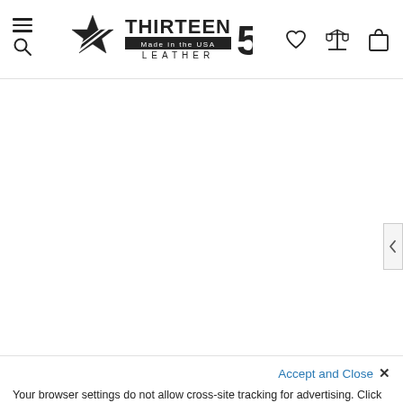[Figure (logo): Thirteen50 Leather Made in the USA logo with star graphic and navigation icons (hamburger/search, heart, scales, shopping bag)]
[Figure (screenshot): Blank white product page content area]
Accept and Close ✕
Your browser settings do not allow cross-site tracking for advertising. Click on this page to allow AdRoll to use cross-site tracking to tailor ads to you. Learn more or opt out of this AdRoll tracking by clicking here. This message only appears once.